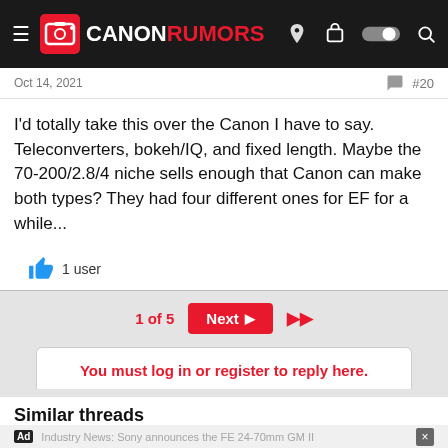[Figure (logo): Canon Rumors website header with logo, hamburger menu, and navigation icons on dark background]
Oct 14, 2021  #20
I'd totally take this over the Canon I have to say. Teleconverters, bokeh/IQ, and fixed length. Maybe the 70-200/2.8/4 niche sells enough that Canon can make both types? They had four different ones for EF for a while...
1 user
1 of 5  Next  ▶▶
You must log in or register to reply here.
Similar threads
[Figure (screenshot): Advertisement banner with Ad badge, close button, and blurred thread preview for Industry News: Sony announces the FE 24-70mm GM II]